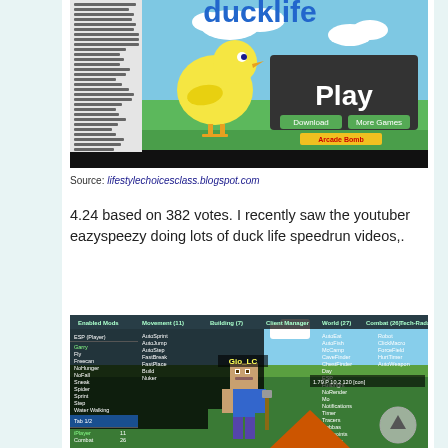[Figure (screenshot): Screenshot of Duck Life game showing a yellow cartoon duck with 'ducklife' title text, a Play button, Download and More Games buttons, and Arcade Bomb branding. Left sidebar shows a game list menu.]
Source: lifestylechoicesclass.blogspot.com
4.24 based on 382 votes. I recently saw the youtuber eazyspeezy doing lots of duck life speedrun videos,.
[Figure (screenshot): Screenshot of Minecraft with a hacked client mod menu open, showing multiple panels: Enabled Mods, Movement, Building, Client Manager, World, Combat, Tech-Radar categories with various mod options listed. A Steve character is visible in the center of the game world.]